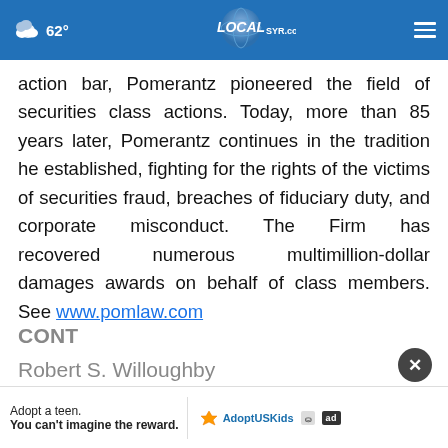62° LOCAL SYR.com
action bar, Pomerantz pioneered the field of securities class actions. Today, more than 85 years later, Pomerantz continues in the tradition he established, fighting for the rights of the victims of securities fraud, breaches of fiduciary duty, and corporate misconduct. The Firm has recovered numerous multimillion-dollar damages awards on behalf of class members. See www.pomlaw.com
CONT
Robert S. Willoughby